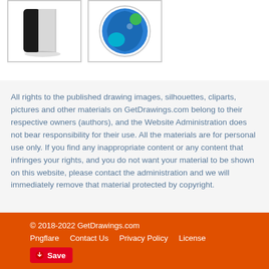[Figure (illustration): Two thumbnail images side by side: left shows a black and white rectangular device icon, right shows a blue circular icon with green and teal elements]
All rights to the published drawing images, silhouettes, cliparts, pictures and other materials on GetDrawings.com belong to their respective owners (authors), and the Website Administration does not bear responsibility for their use. All the materials are for personal use only. If you find any inappropriate content or any content that infringes your rights, and you do not want your material to be shown on this website, please contact the administration and we will immediately remove that material protected by copyright.
© 2018-2022 GetDrawings.com | Pngflare | Contact Us | Privacy Policy | License | Save